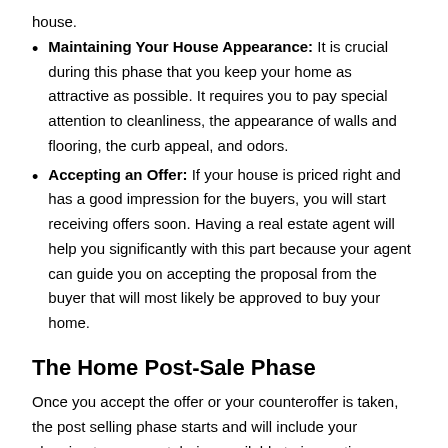house.
Maintaining Your House Appearance: It is crucial during this phase that you keep your home as attractive as possible. It requires you to pay special attention to cleanliness, the appearance of walls and flooring, the curb appeal, and odors.
Accepting an Offer: If your house is priced right and has a good impression for the buyers, you will start receiving offers soon. Having a real estate agent will help you significantly with this part because your agent can guide you on accepting the proposal from the buyer that will most likely be approved to buy your home.
The Home Post-Sale Phase
Once you accept the offer or your counteroffer is taken, the post selling phase starts and will include your planning to move out, being available to inspections, cleaning the property and working with escrow.
Planning to Move Out: Once the house is sold is time to start packing. By now you should have an idea if you are going to rent